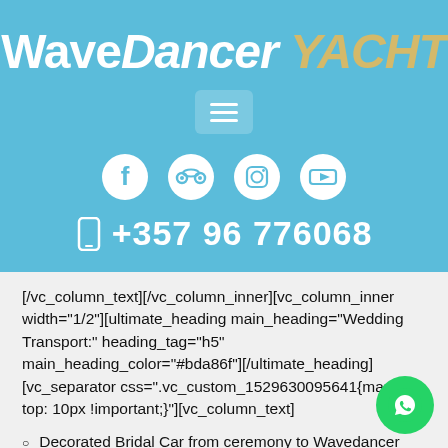WaveDancer YACHT
[Figure (other): Hamburger menu icon (three horizontal lines) inside a rounded rectangle button]
[Figure (other): Row of four social media icons (Facebook, TripAdvisor, Instagram, YouTube) as white circles on blue background]
+357 96 776068
[/vc_column_text][/vc_column_inner][vc_column_inner width="1/2"][ultimate_heading main_heading="Wedding Transport:" heading_tag="h5" main_heading_color="#bda86f"][/ultimate_heading][vc_separator css=".vc_custom_1529630095641{margin-top: 10px !important;}"][vc_column_text]
Decorated Bridal Car from ceremony to Wavedancer